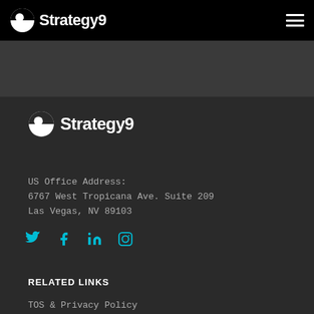Strategy9
[Figure (logo): Strategy9 logo with icon in footer area]
US Office Address:
6767 West Tropicana Ave. Suite 209
Las Vegas, NV 89103
[Figure (infographic): Social media icons: Twitter, Facebook, LinkedIn, Instagram in cyan color]
RELATED LINKS
TOS & Privacy Policy